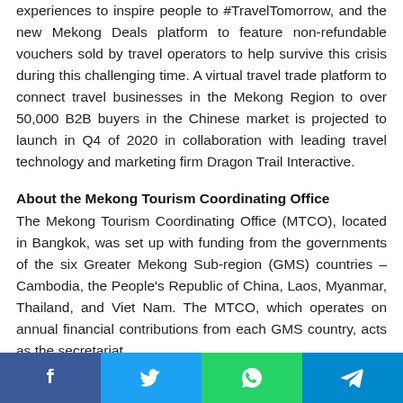experiences to inspire people to #TravelTomorrow, and the new Mekong Deals platform to feature non-refundable vouchers sold by travel operators to help survive this crisis during this challenging time. A virtual travel trade platform to connect travel businesses in the Mekong Region to over 50,000 B2B buyers in the Chinese market is projected to launch in Q4 of 2020 in collaboration with leading travel technology and marketing firm Dragon Trail Interactive.
About the Mekong Tourism Coordinating Office
The Mekong Tourism Coordinating Office (MTCO), located in Bangkok, was set up with funding from the governments of the six Greater Mekong Sub-region (GMS) countries – Cambodia, the People's Republic of China, Laos, Myanmar, Thailand, and Viet Nam. The MTCO, which operates on annual financial contributions from each GMS country, acts as the secretariat
[Figure (other): Social sharing bar with Facebook, Twitter, WhatsApp, and Telegram buttons]